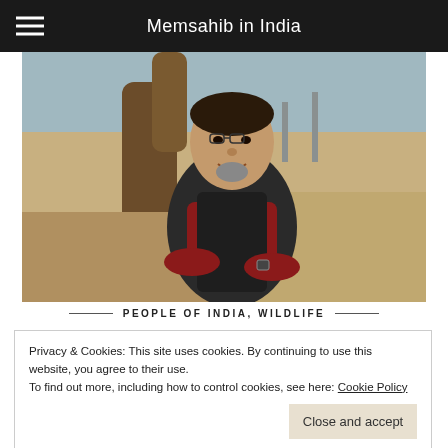Memsahib in India
[Figure (photo): A man with a salt-and-pepper goatee wearing a dark vest over a red shirt, arms crossed, smiling, standing outdoors near a tree with a sandy/dusty background]
PEOPLE OF INDIA, WILDLIFE
Privacy & Cookies: This site uses cookies. By continuing to use this website, you agree to their use.
To find out more, including how to control cookies, see here: Cookie Policy
Close and accept